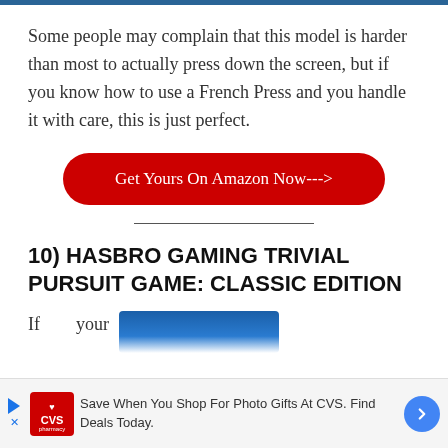Some people may complain that this model is harder than most to actually press down the screen, but if you know how to use a French Press and you handle it with care, this is just perfect.
[Figure (other): Red rounded-rectangle button with white text reading 'Get Yours On Amazon Now--->']
10) HASBRO GAMING TRIVIAL PURSUIT GAME: CLASSIC EDITION
If      your
[Figure (other): CVS pharmacy advertisement banner: 'Save When You Shop For Photo Gifts At CVS. Find Deals Today.']